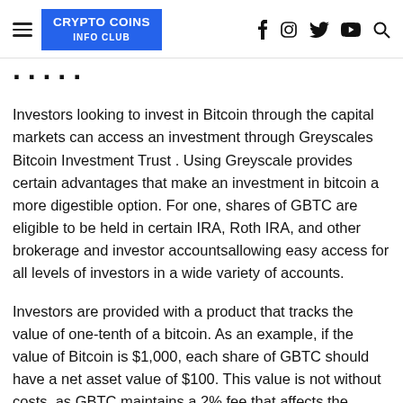CRYPTO COINS INFO CLUB
...
Investors looking to invest in Bitcoin through the capital markets can access an investment through Greyscales Bitcoin Investment Trust . Using Greyscale provides certain advantages that make an investment in bitcoin a more digestible option. For one, shares of GBTC are eligible to be held in certain IRA, Roth IRA, and other brokerage and investor accountsallowing easy access for all levels of investors in a wide variety of accounts.
Investors are provided with a product that tracks the value of one-tenth of a bitcoin. As an example, if the value of Bitcoin is $1,000, each share of GBTC should have a net asset value of $100. This value is not without costs, as GBTC maintains a 2% fee that affects the underlying value.
In reality, investors are paying for security, ease of use, and